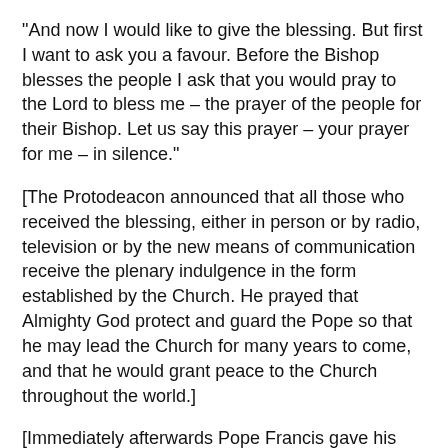"And now I would like to give the blessing. But first I want to ask you a favour. Before the Bishop blesses the people I ask that you would pray to the Lord to bless me – the prayer of the people for their Bishop. Let us say this prayer – your prayer for me – in silence."
[The Protodeacon announced that all those who received the blessing, either in person or by radio, television or by the new means of communication receive the plenary indulgence in the form established by the Church. He prayed that Almighty God protect and guard the Pope so that he may lead the Church for many years to come, and that he would grant peace to the Church throughout the world.]
[Immediately afterwards Pope Francis gave his first blessing Urbi et Orbi – To the City and to the World.]
"I will now give my blessing to you and to the whole world, to all men and women of good will."
"Brothers and sisters, I am leaving you. Thank you for your welcome. Pray for me and I will be with you, in our journey. We